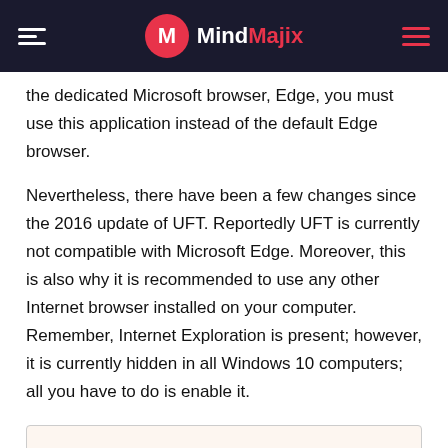MindMajix
the dedicated Microsoft browser, Edge, you must use this application instead of the default Edge browser.
Nevertheless, there have been a few changes since the 2016 update of UFT. Reportedly UFT is currently not compatible with Microsoft Edge. Moreover, this is also why it is recommended to use any other Internet browser installed on your computer. Remember, Internet Exploration is present; however, it is currently hidden in all Windows 10 computers; all you have to do is enable it.
Related Article: UFT Interview Questions for Beginners